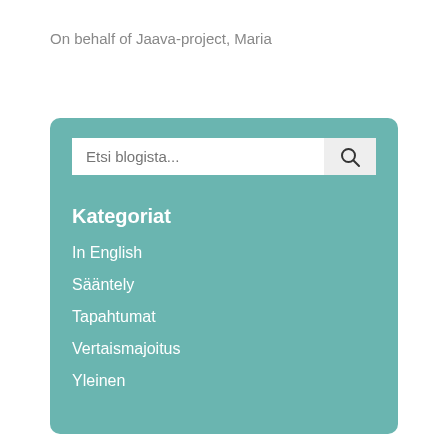On behalf of Jaava-project, Maria
Kategoriat
In English
Sääntely
Tapahtumat
Vertaismajoitus
Yleinen